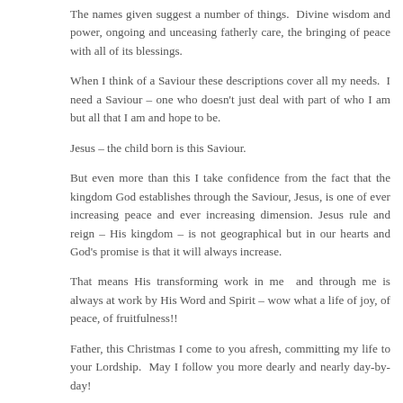The names given suggest a number of things.  Divine wisdom and power, ongoing and unceasing fatherly care, the bringing of peace with all of its blessings.
When I think of a Saviour these descriptions cover all my needs.  I need a Saviour – one who doesn't just deal with part of who I am but all that I am and hope to be.
Jesus – the child born is this Saviour.
But even more than this I take confidence from the fact that the kingdom God establishes through the Saviour, Jesus, is one of ever increasing peace and ever increasing dimension. Jesus rule and reign – His kingdom – is not geographical but in our hearts and God's promise is that it will always increase.
That means His transforming work in me  and through me is always at work by His Word and Spirit – wow what a life of joy, of peace, of fruitfulness!!
Father, this Christmas I come to you afresh, committing my life to your Lordship.  May I follow you more dearly and nearly day-by-day!